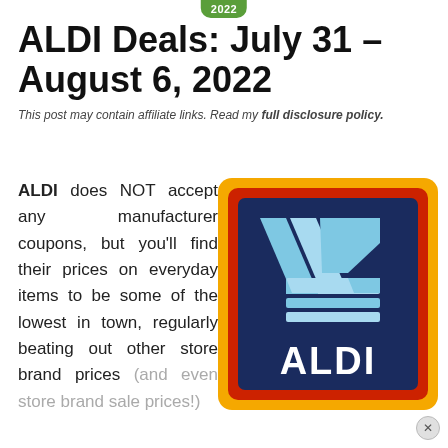2022
ALDI Deals: July 31 – August 6, 2022
This post may contain affiliate links. Read my full disclosure policy.
ALDI does NOT accept any manufacturer coupons, but you'll find their prices on everyday items to be some of the lowest in town, regularly beating out other store brand prices (and even store brand sale prices!)
[Figure (logo): ALDI logo — navy blue square with light blue diagonal stripes and letter A, text ALDI in white, surrounded by red and yellow/orange border]